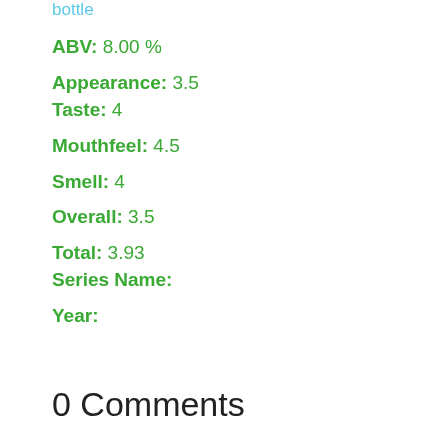bottle
ABV: 8.00 %
Appearance: 3.5
Taste: 4
Mouthfeel: 4.5
Smell: 4
Overall: 3.5
Total: 3.93
Series Name:
Year:
0 Comments
Submit a Comment